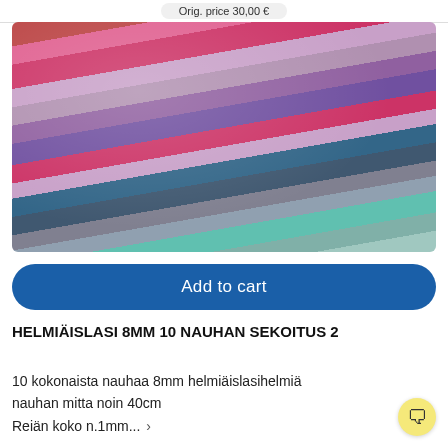Orig. price 30,00 €
[Figure (photo): Multiple strands of colorful 8mm glass pearl beads arranged diagonally, showing colors including red/pink, mauve, purple, hot pink, light pink, dark navy, grey, silver, teal and mint green on a cream background.]
Add to cart
HELMIÄISLASI 8MM 10 NAUHAN SEKOITUS 2
10 kokonaista nauhaa 8mm helmiäislasihelmiä
nauhan mitta noin 40cm
Reiän koko n.1mm... ›